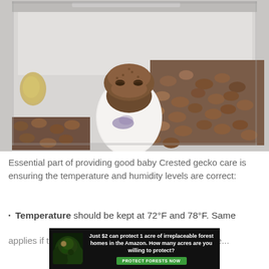[Figure (photo): A baby crested gecko emerging from a white egg inside a clear plastic container with brown gravel/pebbles substrate. The gecko's brown head is visible above the white egg which has a purple mark on it. Another gecko or food item is visible in the upper left corner.]
Essential part of providing good baby Crested gecko care is ensuring the temperature and humidity levels are correct:
Temperature should be kept at 72°F and 78°F. Same
[Figure (infographic): Advertisement banner: dark background with forest/Amazon imagery on left. Text reads: 'Just $2 can protect 1 acre of irreplaceable forest homes in the Amazon. How many acres are you willing to protect?' with a green 'PROTECT FORESTS NOW' button.]